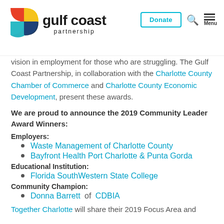Gulf Coast Partnership — navigation header with Donate button
vision in employment for those who are struggling. The Gulf Coast Partnership, in collaboration with the Charlotte County Chamber of Commerce and Charlotte County Economic Development, present these awards.
We are proud to announce the 2019 Community Leader Award Winners:
Employers:
Waste Management of Charlotte County
Bayfront Health Port Charlotte & Punta Gorda
Educational Institution:
Florida SouthWestern State College
Community Champion:
Donna Barrett of CDBIA
Together Charlotte will share their 2019 Focus Area and